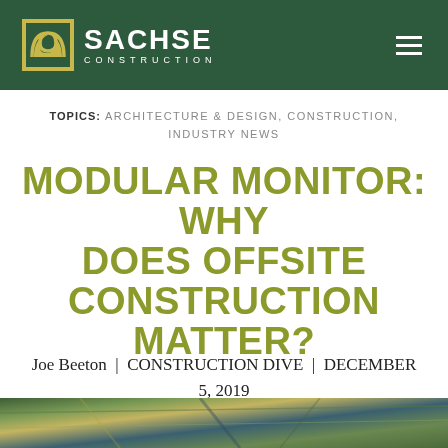SACHSE CONSTRUCTION
TOPICS: ARCHITECTURE & DESIGN, CONSTRUCTION, INDUSTRY NEWS
MODULAR MONITOR: WHY DOES OFFSITE CONSTRUCTION MATTER?
Joe Beeton | CONSTRUCTION DIVE | DECEMBER 5, 2019
[Figure (photo): Construction site image strip showing building materials and structure]